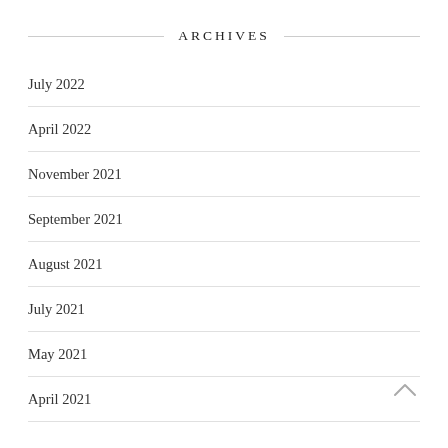ARCHIVES
July 2022
April 2022
November 2021
September 2021
August 2021
July 2021
May 2021
April 2021